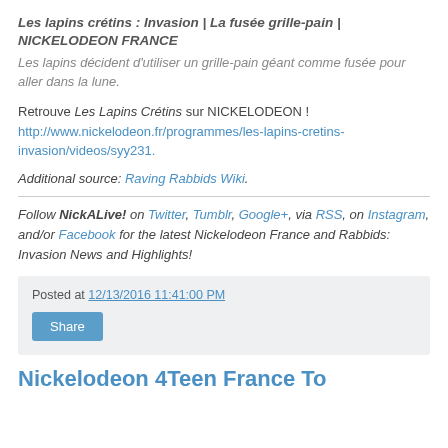Les lapins crétins : Invasion | La fusée grille-pain | NICKELODEON FRANCE
Les lapins décident d'utiliser un grille-pain géant comme fusée pour aller dans la lune.
Retrouve Les Lapins Crétins sur NICKELODEON ! http://www.nickelodeon.fr/programmes/les-lapins-cretins-invasion/videos/syy231.
Additional source: Raving Rabbids Wiki.
Follow NickALive! on Twitter, Tumblr, Google+, via RSS, on Instagram, and/or Facebook for the latest Nickelodeon France and Rabbids: Invasion News and Highlights!
Posted at 12/13/2016 11:41:00 PM
Share
Nickelodeon 4Teen France To